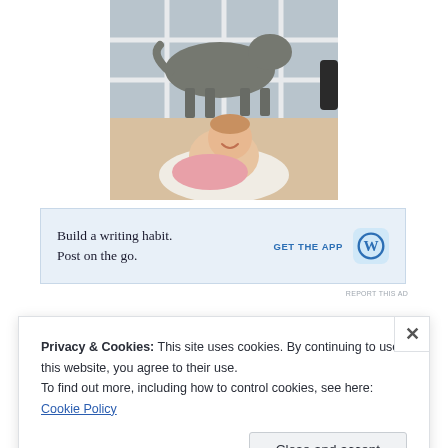[Figure (photo): Photo of a laughing baby in a bouncy seat looking at a dog standing outside a glass door with window panes, viewed from inside]
[Figure (other): Advertisement banner: 'Build a writing habit. Post on the go.' with 'GET THE APP' call to action and WordPress logo icon, light blue background]
REPORT THIS AD
Privacy & Cookies: This site uses cookies. By continuing to use this website, you agree to their use.
To find out more, including how to control cookies, see here: Cookie Policy
Close and accept